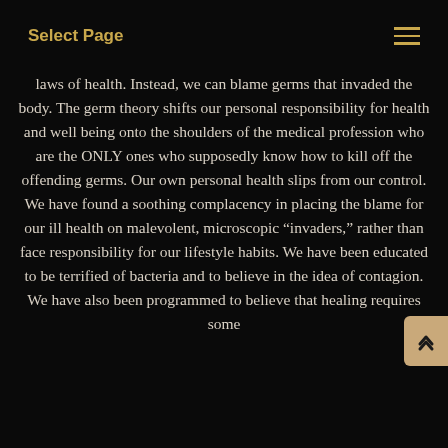Select Page
laws of health. Instead, we can blame germs that invaded the body. The germ theory shifts our personal responsibility for health and well being onto the shoulders of the medical profession who are the ONLY ones who supposedly know how to kill off the offending germs. Our own personal health slips from our control. We have found a soothing complacency in placing the blame for our ill health on malevolent, microscopic “invaders,” rather than face responsibility for our lifestyle habits. We have been educated to be terrified of bacteria and to believe in the idea of contagion. We have also been programmed to believe that healing requires some